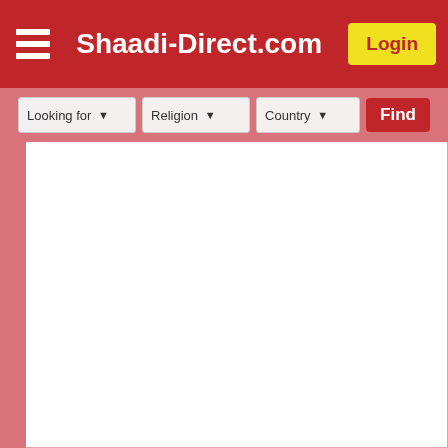Shaadi-Direct.com
Looking for   Religion   Country   Find
[Figure (photo): Blank white profile photo area with red border on the left side]
M Kamran from Uch Sharif I belong to a poor family I am searching a honest wife who loved me nd living my